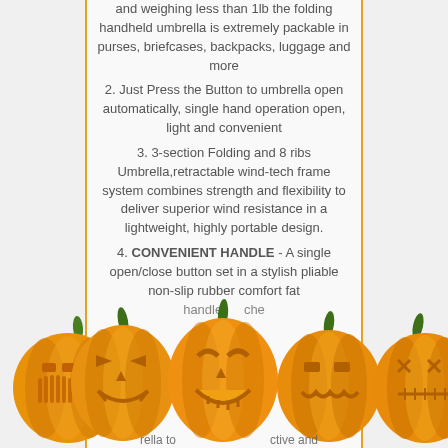and weighing less than 1lb the folding handheld umbrella is extremely packable in purses, briefcases, backpacks, luggage and more
2. Just Press the Button to umbrella open automatically, single hand operation open, light and convenient
3. 3-section Folding and 8 ribs Umbrella,retractable wind-tech frame system combines strength and flexibility to deliver superior wind resistance in a lightweight, highly portable design.
4. CONVENIENT HANDLE - A single open/close button set in a stylish pliable non-slip rubber comfort fat handle... rella to... ective and...
[Figure (illustration): Row of five carved Halloween jack-o-lantern pumpkins with glowing faces across the bottom of the page]